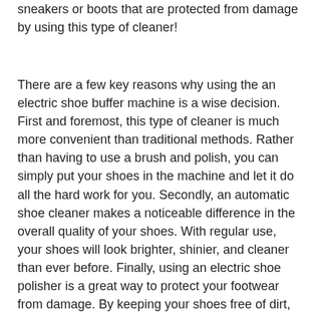sneakers or boots that are protected from damage by using this type of cleaner!
There are a few key reasons why using the an electric shoe buffer machine is a wise decision. First and foremost, this type of cleaner is much more convenient than traditional methods. Rather than having to use a brush and polish, you can simply put your shoes in the machine and let it do all the hard work for you. Secondly, an automatic shoe cleaner makes a noticeable difference in the overall quality of your shoes. With regular use, your shoes will look brighter, shinier, and cleaner than ever before. Finally, using an electric shoe polisher is a great way to protect your footwear from damage. By keeping your shoes free of dirt, dust, and polish build-up, you'll help them last longer.